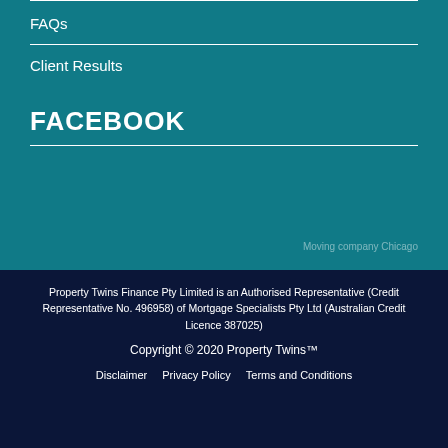FAQs
Client Results
FACEBOOK
Moving company Chicago
Property Twins Finance Pty Limited is an Authorised Representative (Credit Representative No. 496958) of Mortgage Specialists Pty Ltd (Australian Credit Licence 387025)
Copyright © 2020 Property Twins™
Disclaimer   Privacy Policy   Terms and Conditions